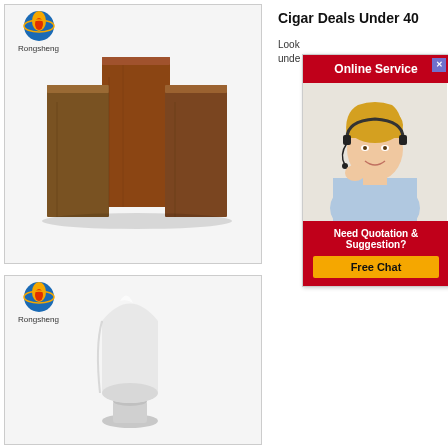[Figure (photo): Rongsheng branded product image showing three brown refractory brick blocks arranged together on white background. Rongsheng logo (flame/globe icon) and text in top-left corner.]
[Figure (photo): Rongsheng branded product image showing a white conical/bullet-shaped ceramic or refractory material piece on a pedestal, on white background. Rongsheng logo in top-left.]
Cigar Deals Under 40
Look under
[Figure (screenshot): Online Service popup/widget showing a red header bar with 'Online Service' text and an X close button, a photo of a smiling blonde woman with a headset, and a red footer section reading 'Need Quotation & Suggestion?' with a yellow 'Free Chat' button.]